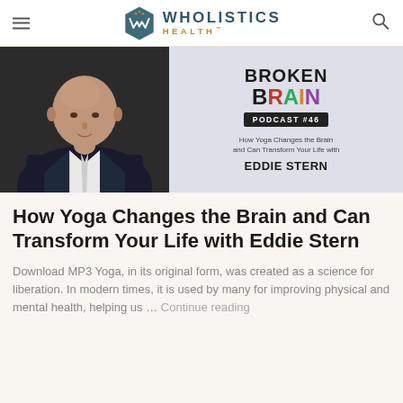Wholistics Health
[Figure (photo): Broken Brain Podcast #46 promotional image featuring a bald man in a dark suit on the left, and on the right the text 'BROKEN BRAIN PODCAST #46 How Yoga Changes the Brain and Can Transform Your Life with EDDIE STERN' on a light grey background.]
How Yoga Changes the Brain and Can Transform Your Life with Eddie Stern
Download MP3 Yoga, in its original form, was created as a science for liberation. In modern times, it is used by many for improving physical and mental health, helping us … Continue reading